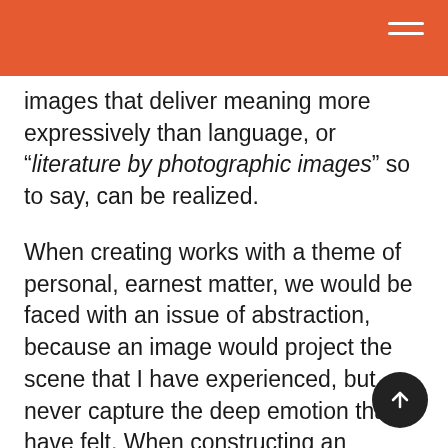images that deliver meaning more expressively than language, or “literature by photographic images” so to say, can be realized.
When creating works with a theme of personal, earnest matter, we would be faced with an issue of abstraction, because an image would project the scene that I have experienced, but never capture the deep emotion that I have felt. When constructing an alternative work of photography beyond vague impressions, the “literature by photographic images” brings a significant possibility.